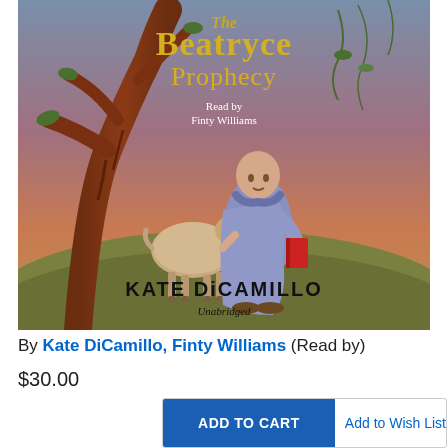[Figure (illustration): Book cover for 'The Beatryce Prophecy' audiobook by Kate DiCamillo, read by Finty Williams. Cover shows a young bald child in purple robes holding a red book and standing next to a goat, with a large twisted red tree in the background against a warm dusk sky. Title in gold lettering at top, author name in large bold black text at bottom, 'Unabridged' below author name.]
By Kate DiCamillo, Finty Williams (Read by)
$30.00
ADD TO CART
Add to Wish List